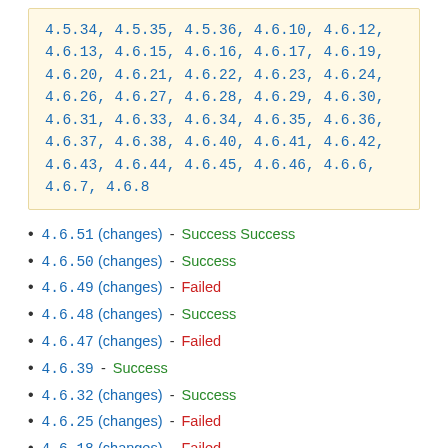4.5.34, 4.5.35, 4.5.36, 4.6.10, 4.6.12, 4.6.13, 4.6.15, 4.6.16, 4.6.17, 4.6.19, 4.6.20, 4.6.21, 4.6.22, 4.6.23, 4.6.24, 4.6.26, 4.6.27, 4.6.28, 4.6.29, 4.6.30, 4.6.31, 4.6.33, 4.6.34, 4.6.35, 4.6.36, 4.6.37, 4.6.38, 4.6.40, 4.6.41, 4.6.42, 4.6.43, 4.6.44, 4.6.45, 4.6.46, 4.6.6, 4.6.7, 4.6.8
4.6.51 (changes) - Success Success
4.6.50 (changes) - Success
4.6.49 (changes) - Failed
4.6.48 (changes) - Success
4.6.47 (changes) - Failed
4.6.39 - Success
4.6.32 (changes) - Success
4.6.25 (changes) - Failed
4.6.18 (changes) - Failed